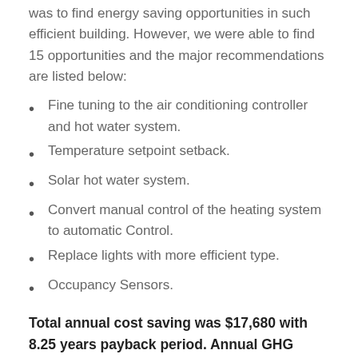was to find energy saving opportunities in such efficient building. However, we were able to find 15 opportunities and the major recommendations are listed below:
Fine tuning to the air conditioning controller and hot water system.
Temperature setpoint setback.
Solar hot water system.
Convert manual control of the heating system to automatic Control.
Replace lights with more efficient type.
Occupancy Sensors.
Total annual cost saving was $17,680 with 8.25 years payback period. Annual GHG avoidance was 106